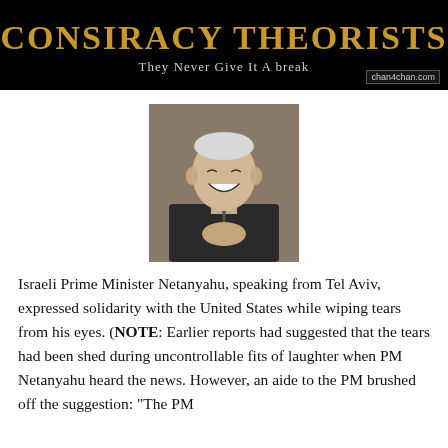[Figure (other): Banner image with text 'CONSIRACY THEORISTS' and subtitle 'They Never Give It A break' on black background with watermark chan4chan.com]
[Figure (photo): Photo of Israeli Prime Minister Netanyahu smiling/laughing with hands clasped together, wearing a dark suit]
Israeli Prime Minister Netanyahu, speaking from Tel Aviv, expressed solidarity with the United States while wiping tears from his eyes. (NOTE: Earlier reports had suggested that the tears had been shed during uncontrollable fits of laughter when PM Netanyahu heard the news. However, an aide to the PM brushed off the suggestion: "The PM